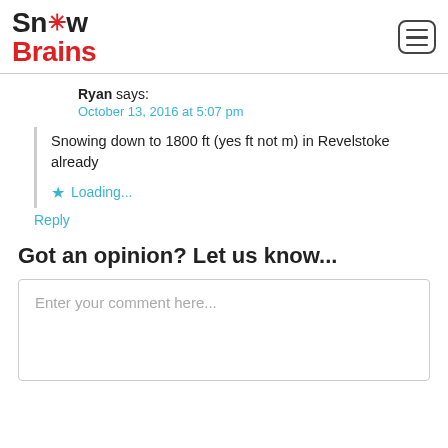SnowBrains
Ryan says:
October 13, 2016 at 5:07 pm
Snowing down to 1800 ft (yes ft not m) in Revelstoke already
Loading...
Reply
Got an opinion? Let us know...
Enter your comment here...